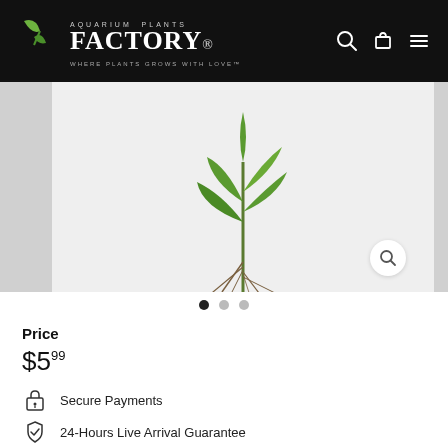AQUARIUM PLANTS FACTORY. WHERE PLANTS GROWS WITH LOVE
[Figure (photo): Aquarium plant with green leaves and roots shown against light background, product listing image]
Price
$5.99
Secure Payments
24-Hours Live Arrival Guarantee
Fresh Quality & Grown Sustainably
In stock, ready to ship